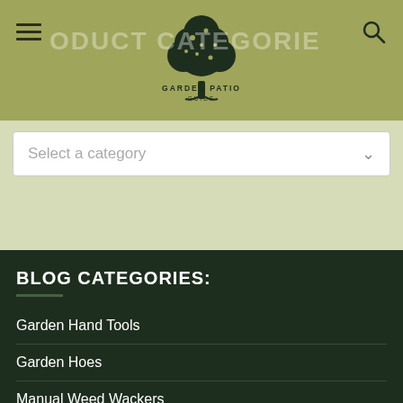PRODUCT CATEGORIES
[Figure (logo): Garden Patio Guide logo with tree illustration]
Select a category
BLOG CATEGORIES:
Garden Hand Tools
Garden Hoes
Manual Weed Wackers
Outdoor & Patio Furniture
Outdoor Fountains